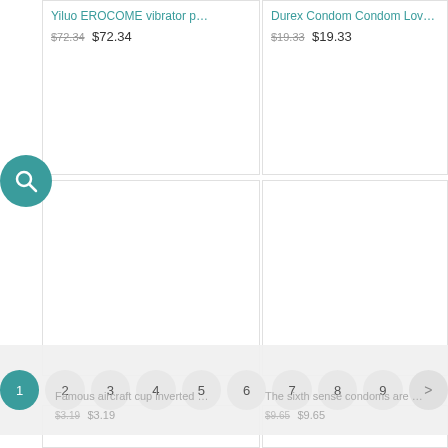Yiluo EROCOME vibrator p…
$72.34 $72.34
Durex Condom Condom Lov…
$19.33 $19.33
[Figure (screenshot): Pagination bar with page numbers 1-9 and next arrow]
Famous aircraft cup inverted … $3.19 $3.19
The sixth sense condoms are … $9.65 $9.65